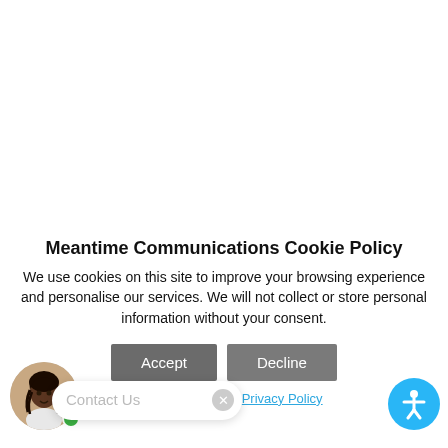[Figure (photo): White blank top area of a webpage, above a cookie consent banner]
Meantime Communications Cookie Policy
We use cookies on this site to improve your browsing experience and personalise our services. We will not collect or store personal information without your consent.
Accept | Decline (buttons)
Contact Us
For details read our Privacy Policy
[Figure (illustration): Circular avatar photo of a young Black woman with braids, with a green online indicator dot]
[Figure (illustration): Blue circular accessibility icon button (person with arms outstretched) in bottom right corner]